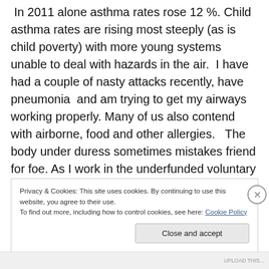In 2011 alone asthma rates rose 12 %. Child asthma rates are rising most steeply (as is child poverty) with more young systems unable to deal with hazards in the air.  I have had a couple of nasty attacks recently, have pneumonia  and am trying to get my airways working properly. Many of us also contend with airborne, food and other allergies.   The body under duress sometimes mistakes friend for foe. As I work in the underfunded voluntary sector it cost me a large proportion of wages in prescriptions after my becoming ill just to make sure I can keep breathing. How many cannot afford to breathe?
Privacy & Cookies: This site uses cookies. By continuing to use this website, you agree to their use.
To find out more, including how to control cookies, see here: Cookie Policy
Close and accept